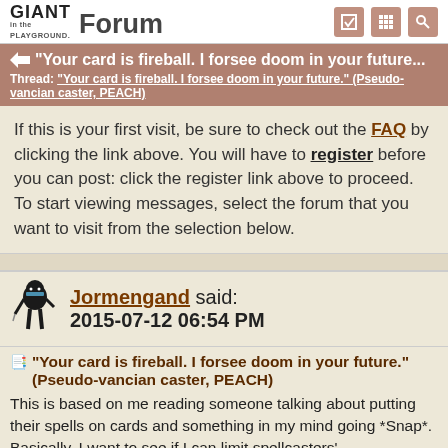GIANT in the PLAYGROUND Forum
"Your card is fireball. I forsee doom in your future... Thread: "Your card is fireball. I forsee doom in your future." (Pseudo-vancian caster, PEACH)
If this is your first visit, be sure to check out the FAQ by clicking the link above. You will have to register before you can post: click the register link above to proceed. To start viewing messages, select the forum that you want to visit from the selection below.
Jormengand said: 2015-07-12 06:54 PM
"Your card is fireball. I forsee doom in your future." (Pseudo-vancian caster, PEACH)
This is based on me reading someone talking about putting their spells on cards and something in my mind going *Snap*. Basically, I want to see if I can limit spellcasters' spends, digitizing the notes by giving entry to one of the...